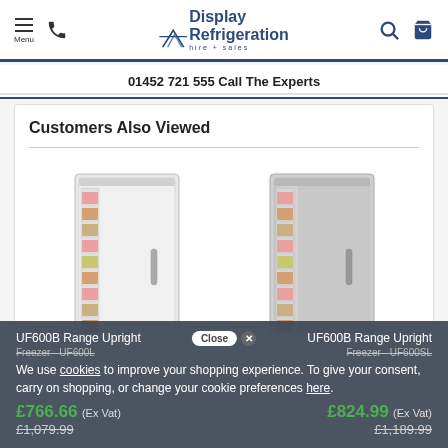Menu | Phone | Display Refrigeration hire + sales | Search | Cart
01452 721 555 Call The Experts
Customers Also Viewed
[Figure (photo): UF600B Range Upright Freezer - white door unit with visible shelves stocked with food items]
[Figure (photo): UF600B Range Upright Freezer - stainless steel door unit with visible shelves stocked with food items]
UF600B Range Upright Freezer - UF600L
UF600B Range Upright Freezer - UF600SL
Close ✕ We use cookies to improve your shopping experience. To give your consent, carry on shopping, or change your cookie preferences here.
£766.66 (Ex Vat)
£824.99 (Ex Vat)
£1,079.99
£1,189.99